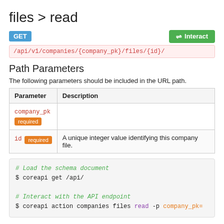files > read
GET  /api/v1/companies/{company_pk}/files/{id}/
Path Parameters
The following parameters should be included in the URL path.
| Parameter | Description |
| --- | --- |
| company_pk  required |  |
| id  required | A unique integer value identifying this company file. |
# Load the schema document
$ coreapi get /api/

# Interact with the API endpoint
$ coreapi action companies files read -p company_pk=